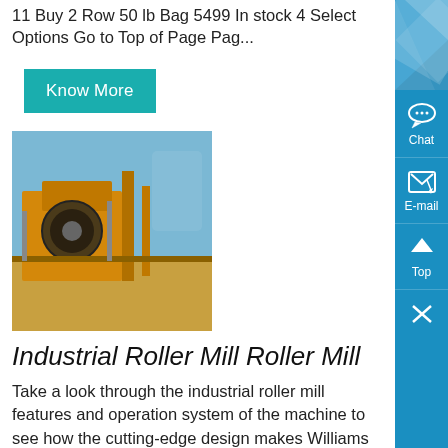11 Buy 2 Row 50 lb Bag 5499 In stock 4 Select Options Go to Top of Page Pag...
Know More
[Figure (photo): Industrial yellow roller mill machine photographed outdoors against a blue sky]
Industrial Roller Mill Roller Mill
Take a look through the industrial roller mill features and operation system of the machine to see how the cutting-edge design makes Williams Crusher the leading roller mill manufacturer in the world Why Choose Williams as Your Roller Mill Manufacturer Williams has been the industry leader for crushing and pulverizing machines since 187…